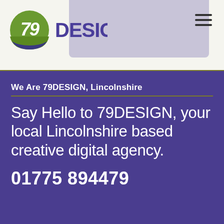[Figure (logo): 79DESIGN logo with green circle containing stylized '79' numeral and purple 'DESIGN' text beside it]
We Are 79DESIGN, Lincolnshire
Say Hello to 79DESIGN, your local Lincolnshire based creative digital agency.
01775 894479